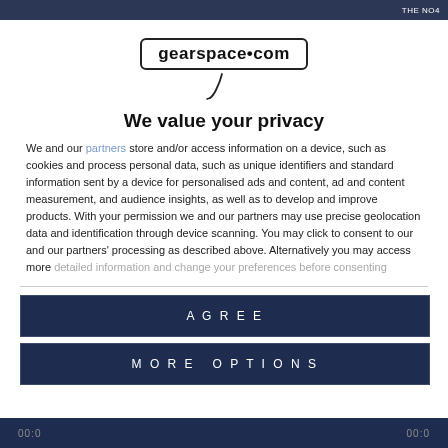THE NO4
[Figure (logo): gearspace.com logo in a rounded rectangle with a microphone cable graphic below]
We value your privacy
We and our partners store and/or access information on a device, such as cookies and process personal data, such as unique identifiers and standard information sent by a device for personalised ads and content, ad and content measurement, and audience insights, as well as to develop and improve products. With your permission we and our partners may use precise geolocation data and identification through device scanning. You may click to consent to our and our partners' processing as described above. Alternatively you may access more detailed information and change your preferences before consenting
AGREE
MORE OPTIONS
00:0  00:0